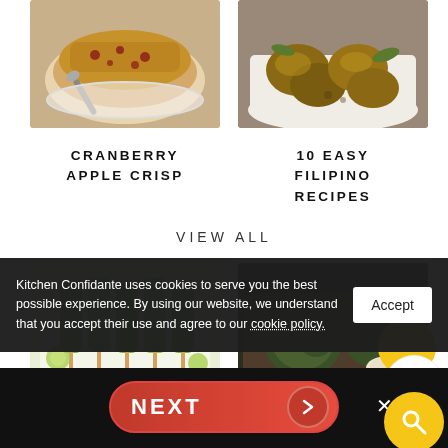[Figure (photo): Cranberry apple crisp in a white bowl with spoon, top-down view]
[Figure (photo): 10 easy Filipino recipes - roasted or braised chicken pieces in a bowl]
CRANBERRY APPLE CRISP
10 EASY FILIPINO RECIPES
VIEW ALL
[Figure (photo): Green popsicles or ice cream bars on a tray with lime]
[Figure (photo): Steamed or roasted artichokes on a dark wooden board with dipping sauce]
Kitchen Confidante uses cookies to serve you the best possible experience. By using our website, we understand that you accept their use and agree to our cookie policy.
Accept
NEXT